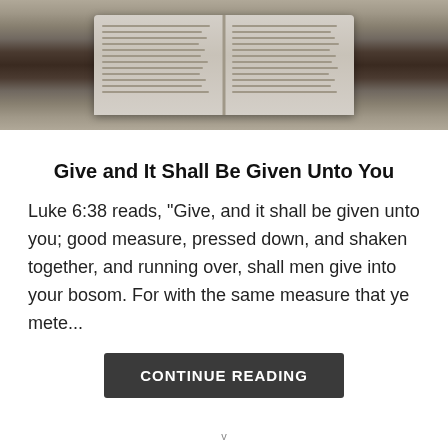[Figure (photo): Open Bible on a wooden surface, viewed from above, showing two pages of text]
Give and It Shall Be Given Unto You
Luke 6:38 reads, "Give, and it shall be given unto you; good measure, pressed down, and shaken together, and running over, shall men give into your bosom. For with the same measure that ye mete..."
CONTINUE READING
v